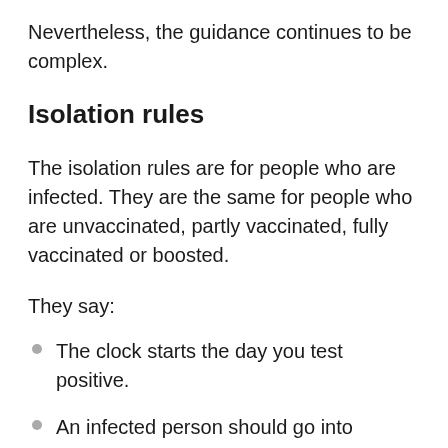Nevertheless, the guidance continues to be complex.
Isolation rules
The isolation rules are for people who are infected. They are the same for people who are unvaccinated, partly vaccinated, fully vaccinated or boosted.
They say:
The clock starts the day you test positive.
An infected person should go into isolations for five days, instead of the previously recommended 10.
At the end of five days, if you have no symptoms, you can return to normal activities but must wear a mask everywhere — even at home around others — for at